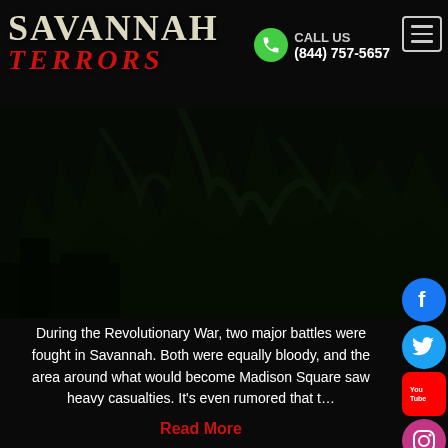SAVANNAH TERRORS — CALL US (844) 757-5657
[Figure (screenshot): Dark atmospheric hero image of a haunted building with gnarled trees at night, very dark toned]
[Figure (infographic): Vertical stack of social media circular icons: Facebook (blue), Twitter (light blue), YouTube (red rounded square), Instagram (purple/pink), Pinterest (red), TikTok (dark brown), Snapchat (yellow)]
During the Revolutionary War, two major battles were fought in Savannah. Both were equally bloody, and the area around what would become Madison Square saw heavy casualties. It's even rumored that t…
Read More